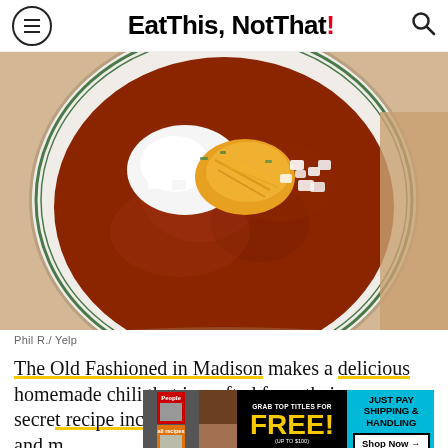Eat This, Not That!
[Figure (photo): A white plate with green-rimmed border containing chili topped with shredded cheddar cheese, sour cream, and diced white onions]
Phil R./ Yelp
The Old Fashioned in Madison makes a delicious homemade chili that is crafted from their very own secre[t recipe including ground beef and m...]
[Figure (screenshot): Advertisement banner: People and allrecipes magazines promotion - GRAB TOP TITLES FOR FREE! (UP TO $100) JUST PAY SHIPPING & HANDLING Shop Now →]